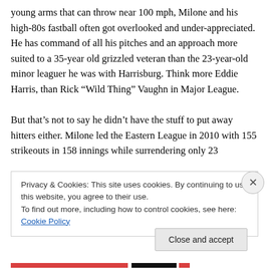young arms that can throw near 100 mph, Milone and his high-80s fastball often got overlooked and under-appreciated. He has command of all his pitches and an approach more suited to a 35-year old grizzled veteran than the 23-year-old minor leaguer he was with Harrisburg. Think more Eddie Harris, than Rick “Wild Thing” Vaughn in Major League.

But that’s not to say he didn’t have the stuff to put away hitters either. Milone led the Eastern League in 2010 with 155 strikeouts in 158 innings while surrendering only 23
Privacy & Cookies: This site uses cookies. By continuing to use this website, you agree to their use.
To find out more, including how to control cookies, see here: Cookie Policy
Close and accept